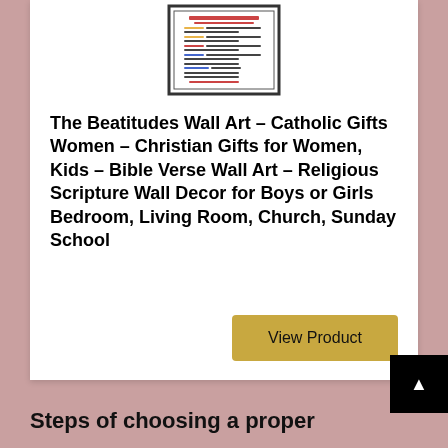[Figure (photo): Product image of The Beatitudes Wall Art - a framed poster with colorful biblical text from Matthew 5:3-12]
The Beatitudes Wall Art – Catholic Gifts Women – Christian Gifts for Women, Kids – Bible Verse Wall Art – Religious Scripture Wall Decor for Boys or Girls Bedroom, Living Room, Church, Sunday School
View Product
Steps of choosing a proper